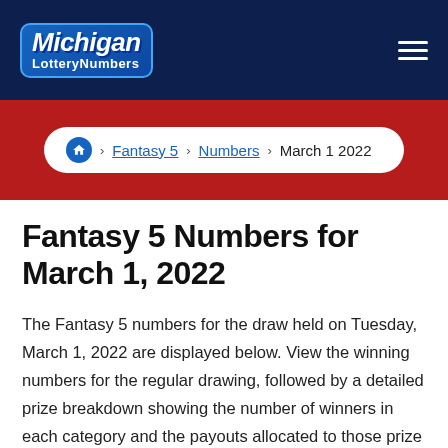Michigan LotteryNumbers
Home > Fantasy 5 > Numbers > March 1 2022
Fantasy 5 Numbers for March 1, 2022
The Fantasy 5 numbers for the draw held on Tuesday, March 1, 2022 are displayed below. View the winning numbers for the regular drawing, followed by a detailed prize breakdown showing the number of winners in each category and the payouts allocated to those prize tiers. You can also see the Double Play